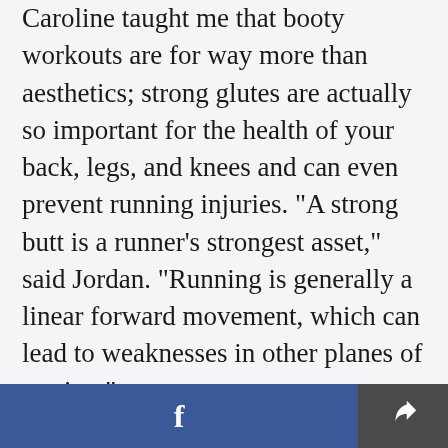Caroline taught me that booty workouts are for way more than aesthetics; strong glutes are actually so important for the health of your back, legs, and knees and can even prevent running injuries. "A strong butt is a runner's strongest asset," said Jordan. "Running is generally a linear forward movement, which can lead to weaknesses in other planes of motion."
And that is where working the gluteus medius – located on the sides of the pelvis – comes into play. It helps stabilize the pelvis by preventing too much...
[Figure (other): Bottom navigation bar with Facebook share button (blue) on the left and a generic share/forward icon button (dark grey) on the right]